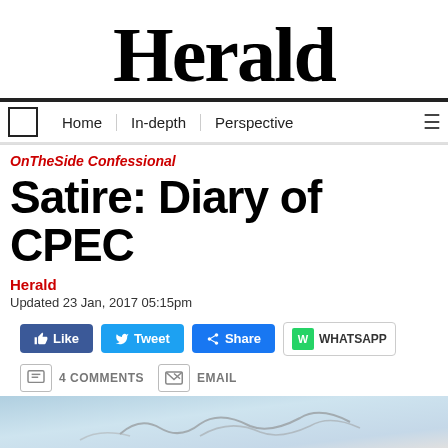Herald
OnTheSide Confessional
Satire: Diary of CPEC
Herald
Updated 23 Jan, 2017 05:15pm
[Figure (screenshot): Social sharing buttons: Like, Tweet, Share, WhatsApp; 4 COMMENTS, EMAIL actions]
[Figure (photo): Bottom image strip with light blue/grey tones, appears to show a signature or handwriting]